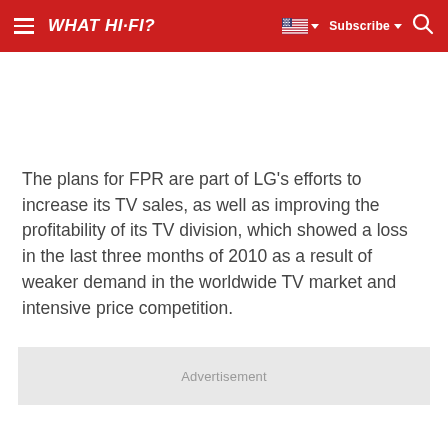WHAT HI-FI?
The plans for FPR are part of LG's efforts to increase its TV sales, as well as improving the profitability of its TV division, which showed a loss in the last three months of 2010 as a result of weaker demand in the worldwide TV market and intensive price competition.
Advertisement